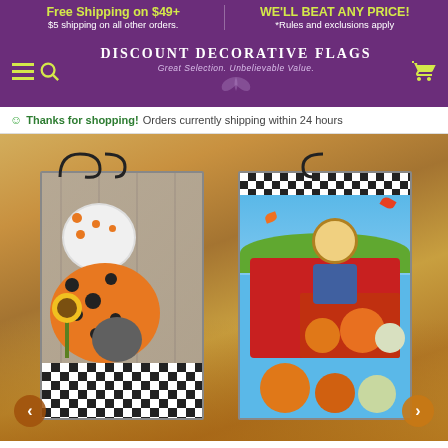Free Shipping on $49+ | $5 shipping on all other orders. | WE'LL BEAT ANY PRICE! | *Rules and exclusions apply
[Figure (logo): Discount Decorative Flags logo with butterfly motif, subtitle: Great Selection. Unbelievable Value.]
Thanks for shopping! Orders currently shipping within 24 hours
[Figure (photo): Two decorative garden flags displayed on metal holders against an autumn outdoor background. Left flag shows stacked polka-dot pumpkins with sunflowers and buffalo check pattern. Right flag shows a scarecrow in a red truck surrounded by pumpkins with fall leaves.]